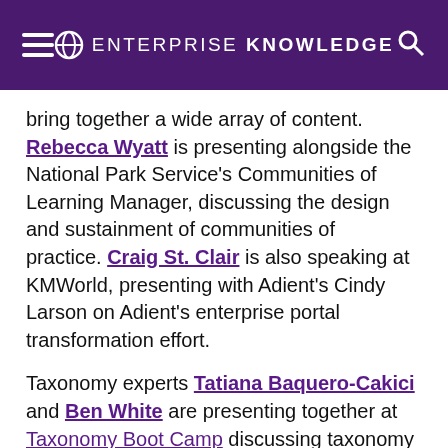ENTERPRISE KNOWLEDGE
bring together a wide array of content. Rebecca Wyatt is presenting alongside the National Park Service's Communities of Learning Manager, discussing the design and sustainment of communities of practice. Craig St. Clair is also speaking at KMWorld, presenting with Adient's Cindy Larson on Adient's enterprise portal transformation effort.
Taxonomy experts Tatiana Baquero-Cakici and Ben White are presenting together at Taxonomy Boot Camp discussing taxonomy design validation techniques and usability, while Zach Wahl will also be facilitating his annual panel of trends and best practices from